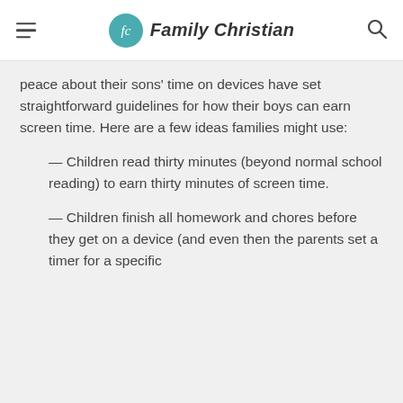Family Christian
peace about their sons' time on devices have set straightforward guidelines for how their boys can earn screen time. Here are a few ideas families might use:
— Children read thirty minutes (beyond normal school reading) to earn thirty minutes of screen time.
— Children finish all homework and chores before they get on a device (and even then the parents set a timer for a specific